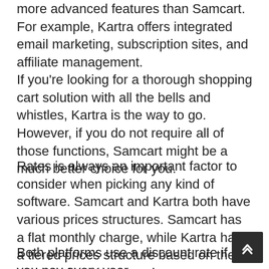more advanced features than Samcart. For example, Kartra offers integrated email marketing, subscription sites, and affiliate management.
If you're looking for a thorough shopping cart solution with all the bells and whistles, Kartra is the way to go. However, if you do not require all of those functions, Samcart might be a much better choice for you.
Rates is always an important factor to consider when picking any kind of software. Samcart and Kartra both have various prices structures. Samcart has a flat monthly charge, while Kartra has a tiered prices structure based on the variety of contacts you have.
Both platforms use a discount rate if you pay every year.